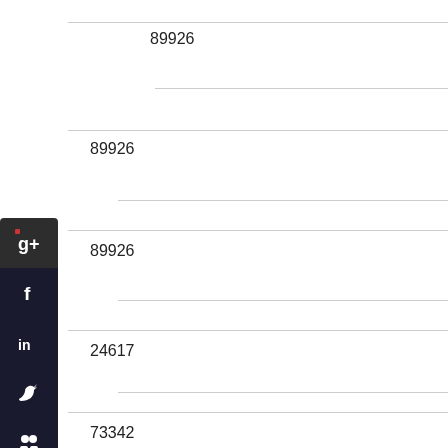89926
89926
89926
24617
73342
[Figure (infographic): Vertical stack of social media share buttons on the left sidebar: Google+, Facebook, LinkedIn, Twitter, a share icon, and StumbleUpon, each as dark rounded square icons with white symbols]